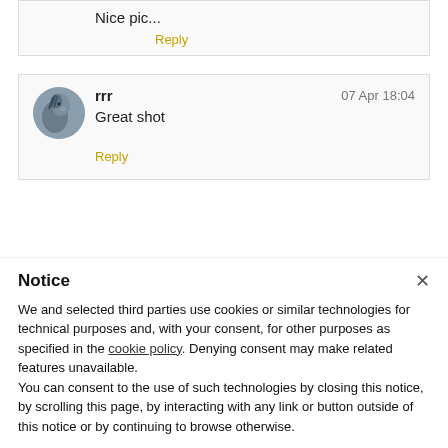Nice pic...
Reply
[Figure (photo): Circular avatar photo of a horse]
rrr  07 Apr 18:04
Great shot
Reply
Notice
We and selected third parties use cookies or similar technologies for technical purposes and, with your consent, for other purposes as specified in the cookie policy. Denying consent may make related features unavailable.
You can consent to the use of such technologies by closing this notice, by scrolling this page, by interacting with any link or button outside of this notice or by continuing to browse otherwise.